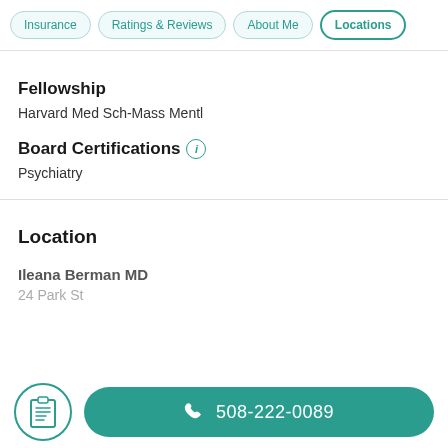Insurance | Ratings & Reviews | About Me | Locations
Fellowship
Harvard Med Sch-Mass Mentl
Board Certifications
Psychiatry
Location
Ileana Berman MD
24 Park St
508-222-0089